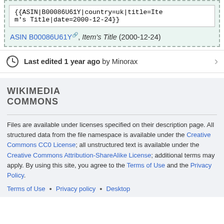date.
{{ASIN|B00086U61Y|country=uk|title=Item's Title|date=2000-12-24}}
ASIN B00086U61Y, Item's Title (2000-12-24)
Last edited 1 year ago by Minorax
WIKIMEDIA COMMONS
Files are available under licenses specified on their description page. All structured data from the file namespace is available under the Creative Commons CC0 License; all unstructured text is available under the Creative Commons Attribution-ShareAlike License; additional terms may apply. By using this site, you agree to the Terms of Use and the Privacy Policy.
Terms of Use • Privacy policy • Desktop